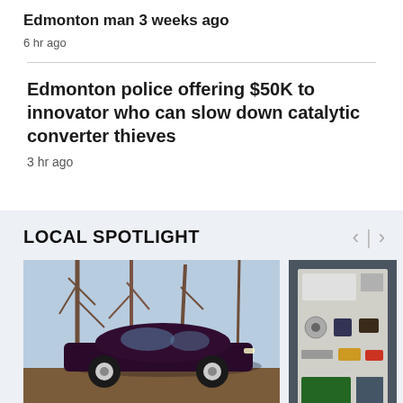Edmonton man 3 weeks ago
6 hr ago
Edmonton police offering $50K to innovator who can slow down catalytic converter thieves
3 hr ago
LOCAL SPOTLIGHT
[Figure (photo): A dark-colored classic muscle car parked on dirt ground with bare winter trees in the background]
[Figure (photo): Partial view of what appears to be a display board or panel with various items and stickers]